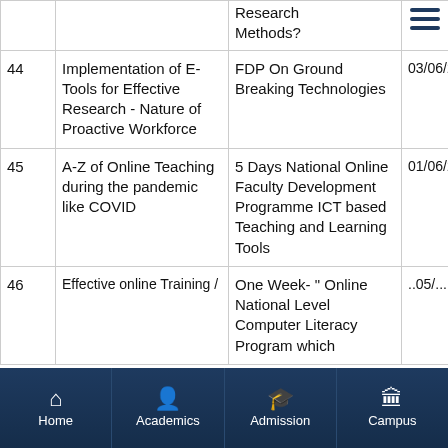| # | Paper Title | Programme/Event | Date | Organiser |
| --- | --- | --- | --- | --- |
|  | Research Methods? |  |  |  |
| 44 | Implementation of E-Tools for Effective Research - Nature of Proactive Workforce | FDP On Ground Breaking Technologies | 03/06/2020 | Panir Institu Techi |
| 45 | A-Z of Online Teaching during the pandemic like COVID | 5 Days National Online Faculty Development Programme ICT based Teaching and Learning Tools | 01/06/2020 | Hindu Colle And S Auton Colle |
| 46 | Effective online Training/ | One Week- " Online National Level Computer Literacy Program which ... | ..05/... | Gove First ... |